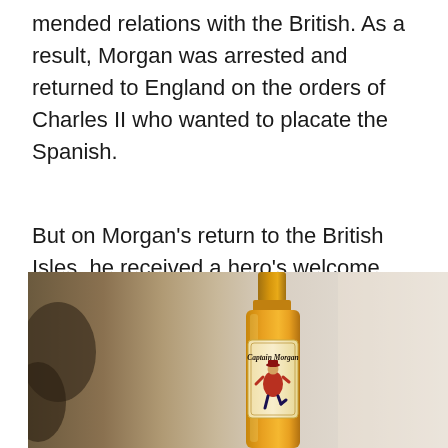mended relations with the British. As a result, Morgan was arrested and returned to England on the orders of Charles II who wanted to placate the Spanish.
But on Morgan's return to the British Isles, he received a hero's welcome. He was feted and Charles II knighted him.
[Figure (photo): A bottle of Captain Morgan rum showing the label with the Captain Morgan logo — a pirate character in a red coat posing with one foot raised, set against a blurred warm background.]